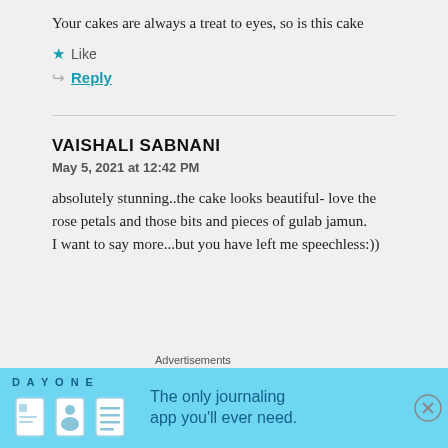Your cakes are always a treat to eyes, so is this cake
Like
Reply
VAISHALI SABNANI
May 5, 2021 at 12:42 PM
absolutely stunning..the cake looks beautiful- love the rose petals and those bits and pieces of gulab jamun.
I want to say more...but you have left me speechless:))
Advertisements
[Figure (infographic): DAY ONE journaling app advertisement banner with light blue background showing app icons and text 'The only journaling app you'll ever need.']